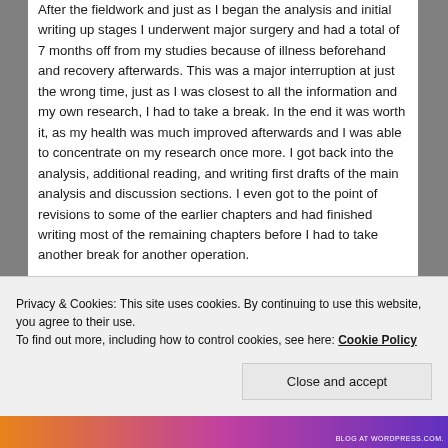After the fieldwork and just as I began the analysis and initial writing up stages I underwent major surgery and had a total of 7 months off from my studies because of illness beforehand and recovery afterwards. This was a major interruption at just the wrong time, just as I was closest to all the information and my own research, I had to take a break. In the end it was worth it, as my health was much improved afterwards and I was able to concentrate on my research once more. I got back into the analysis, additional reading, and writing first drafts of the main analysis and discussion sections. I even got to the point of revisions to some of the earlier chapters and had finished writing most of the remaining chapters before I had to take another break for another operation.
Privacy & Cookies: This site uses cookies. By continuing to use this website, you agree to their use.
To find out more, including how to control cookies, see here: Cookie Policy